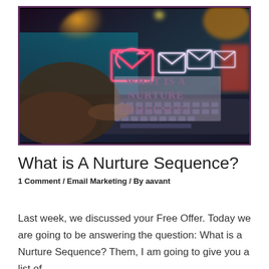[Figure (photo): Photo of hands typing on a laptop keyboard with glowing email envelope icons floating above, overlaid with purple text reading 'What Is a Nurture Sequence?' on a dark blurred background. Image has a purple border.]
What is A Nurture Sequence?
1 Comment / Email Marketing / By aavant
Last week, we discussed your Free Offer. Today we are going to be answering the question: What is a Nurture Sequence? Them, I am going to give you a list of